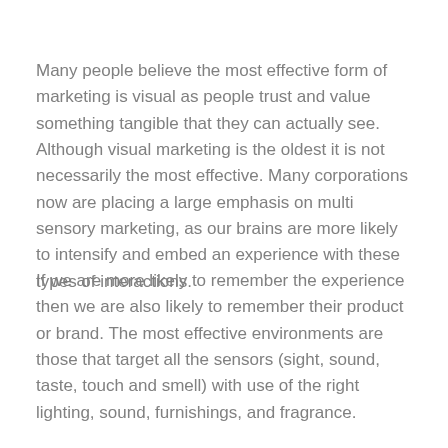Many people believe the most effective form of marketing is visual as people trust and value something tangible that they can actually see. Although visual marketing is the oldest it is not necessarily the most effective. Many corporations now are placing a large emphasis on multi sensory marketing, as our brains are more likely to intensify and embed an experience with these types of interactions.
If we are more likely to remember the experience then we are also likely to remember their product or brand. The most effective environments are those that target all the sensors (sight, sound, taste, touch and smell) with use of the right lighting, sound, furnishings, and fragrance.